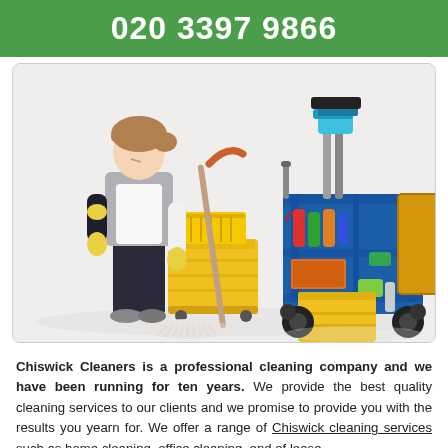020 3397 9866
[Figure (photo): A female cleaner in black uniform and yellow gloves mopping the floor next to yellow mop buckets, with a blue professional cleaning trolley loaded with cleaning supplies and a yellow laundry bag in the background.]
Chiswick Cleaners is a professional cleaning company and we have been running for ten years. We provide the best quality cleaning services to our clients and we promise to provide you with the results you yearn for. We offer a range of Chiswick cleaning services such as home cleaning, office cleaning, end of lease